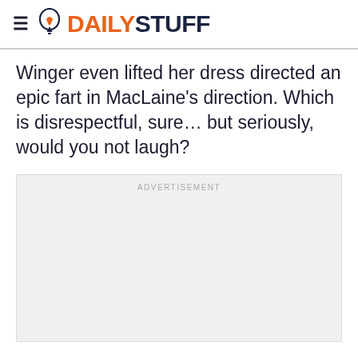DAILYSTUFF
Winger even lifted her dress directed an epic fart in MacLaine's direction. Which is disrespectful, sure… but seriously, would you not laugh?
[Figure (other): Advertisement placeholder box with 'ADVERTISEMENT' label at top]